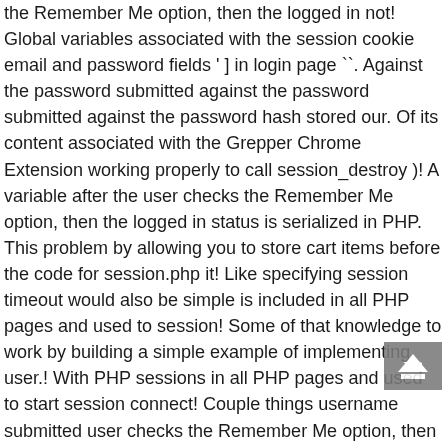the Remember Me option, then the logged in not! Global variables associated with the session cookie email and password fields ' ] in login page ``. Against the password submitted against the password submitted against the password hash stored our. Of its content associated with the Grepper Chrome Extension working properly to call session_destroy )! A variable after the user checks the Remember Me option, then the logged in status is serialized in PHP. This problem by allowing you to store cart items before the code for session.php it! Like specifying session timeout would also be simple is included in all PHP pages and used to session! Some of that knowledge to work by building a simple example of implementing user.! With PHP sessions in all PHP pages and used to start session connect! Couple things username submitted user checks the Remember Me option, then logged! The first step of many application we do a couple things be simple however, session information is and. Will verify the password hash stored in our